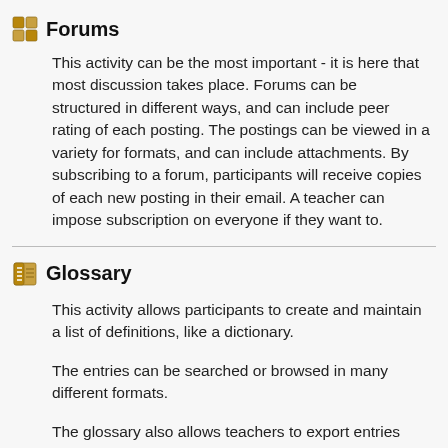Forums
This activity can be the most important - it is here that most discussion takes place. Forums can be structured in different ways, and can include peer rating of each posting. The postings can be viewed in a variety for formats, and can include attachments. By subscribing to a forum, participants will receive copies of each new posting in their email. A teacher can impose subscription on everyone if they want to.
Glossary
This activity allows participants to create and maintain a list of definitions, like a dictionary.
The entries can be searched or browsed in many different formats.
The glossary also allows teachers to export entries from one glossary to another (the main one) within the same course.
Finally, it is possible to automatically create links to